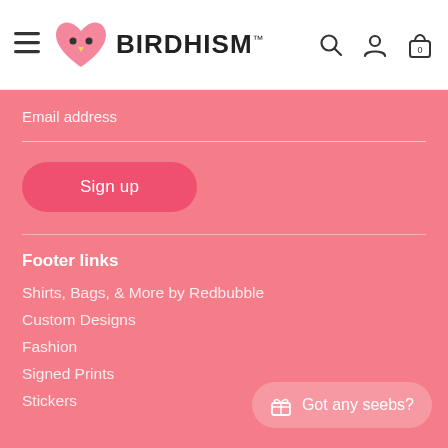[Figure (logo): Birdhism logo — pink heart shape with bird face dots and beak, with text BIRDHISM in bold]
BIRDHISM
Email address
[Figure (other): Sign up button — rounded pink pill button with white text 'Sign up']
Footer links
Shirts, Bags, & More by Redbubble
Custom Designs
Fashion
Signed Prints
Stickers
[Figure (other): Got any seebs? button at bottom right — rounded pill with gift icon and white text]